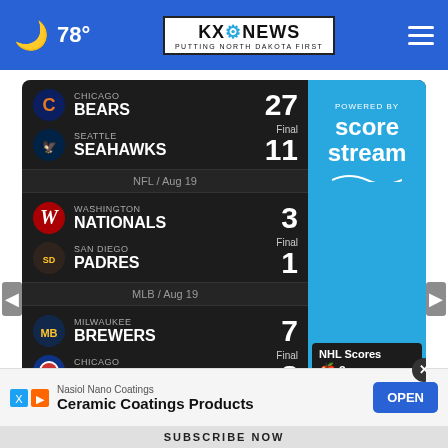🌙 78° | KXO NEWS - PUTTING NORTH DAKOTA FIRST
[Figure (infographic): Sports scores widget showing NFL and MLB game results. Chicago Bears 27 - Seattle Seahawks 11 (Final, NFL / Aug 19). Washington Nationals 3 - San Diego Padres 1 (Final, MLB / Aug 19). Milwaukee Brewers 7 - Chicago Cubs 8 (Final, MLB / Aug 19). Powered by ScoreStream. NHL Scores section with Apple icon visible.]
[Figure (infographic): Advertisement bar: Nasiol Nano Coatings - Ceramic Coatings Products with OPEN button]
SUBSCRIBE NOW